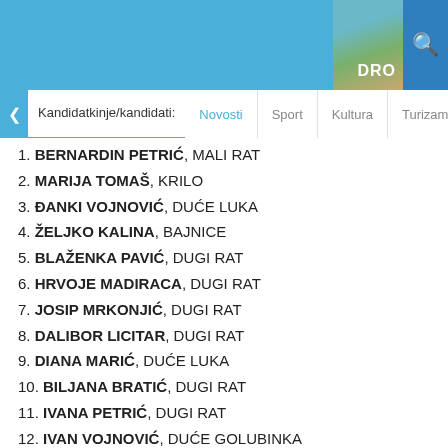DRO
Kandidatkinje/kandidati:
1. BERNARDIN PETRIĆ, MALI RAT
2. MARIJA TOMAŠ, KRILO
3. ĐANKI VOJNOVIĆ, DUĆE LUKA
4. ŽELJKO KALINA, BAJNICE
5. BLAŽENKA PAVIĆ, DUGI RAT
6. HRVOJE MADIRACA, DUGI RAT
7. JOSIP MRKONJIĆ, DUGI RAT
8. DALIBOR LICITAR, DUGI RAT
9. DIANA MARIĆ, DUĆE LUKA
10. BILJANA BRATIĆ, DUGI RAT
11. IVANA PETRIĆ, DUGI RAT
12. IVAN VOJNOVIĆ, DUĆE GOLUBINKA
13. NIKOLINA ZEMUNIK, DUGI RAT
14. PETRA RADMANOVIĆ, DUGI RAT
15. TONI BILIĆ, DUGI RAT.